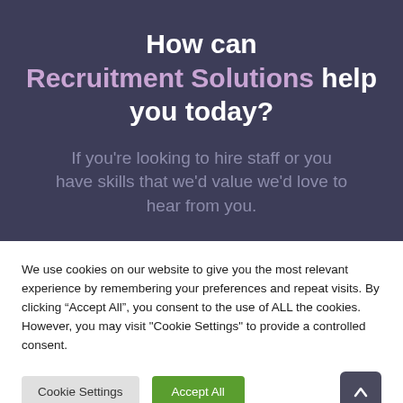How can Recruitment Solutions help you today?
If you're looking to hire staff or you have skills that we'd value we'd love to hear from you.
We use cookies on our website to give you the most relevant experience by remembering your preferences and repeat visits. By clicking “Accept All”, you consent to the use of ALL the cookies. However, you may visit "Cookie Settings" to provide a controlled consent.